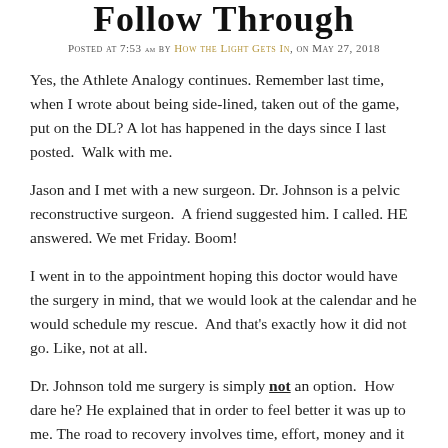Follow Through
Posted at 7:53 am by How the Light Gets In, on May 27, 2018
Yes, the Athlete Analogy continues. Remember last time, when I wrote about being side-lined, taken out of the game, put on the DL? A lot has happened in the days since I last posted.  Walk with me.
Jason and I met with a new surgeon. Dr. Johnson is a pelvic reconstructive surgeon.  A friend suggested him. I called. HE answered. We met Friday. Boom!
I went in to the appointment hoping this doctor would have the surgery in mind, that we would look at the calendar and he would schedule my rescue.  And that's exactly how it did not go. Like, not at all.
Dr. Johnson told me surgery is simply not an option.  How dare he? He explained that in order to feel better it was up to me. The road to recovery involves time, effort, money and it is up